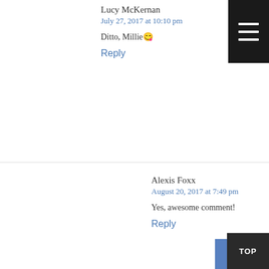Lucy McKernan
July 27, 2017 at 10:10 pm
Ditto, Millie 😊
Reply
Alexis Foxx
August 20, 2017 at 7:49 pm
Yes, awesome comment!
Reply
Seamus Mulvihill
March 21, 2018 at 11:13 pm
I don't feel threatened, but I will have something to say about contamination local deer herds. As soon as Dr. Millie snacking on meat that was exposed to this